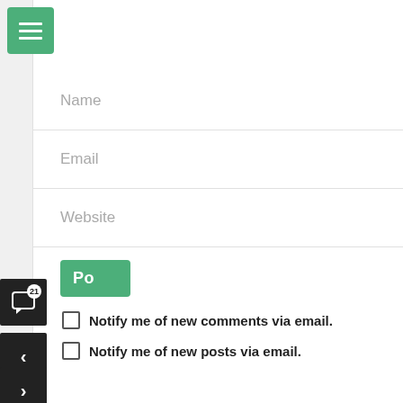[Figure (screenshot): Green hamburger menu button in top-left corner]
Name
Email
Website
[Figure (screenshot): Green 'Po' (Post Comment) button]
Notify me of new comments via email.
Notify me of new posts via email.
[Figure (screenshot): Dark sidebar with comment count badge (21), previous arrow, and next arrow buttons]